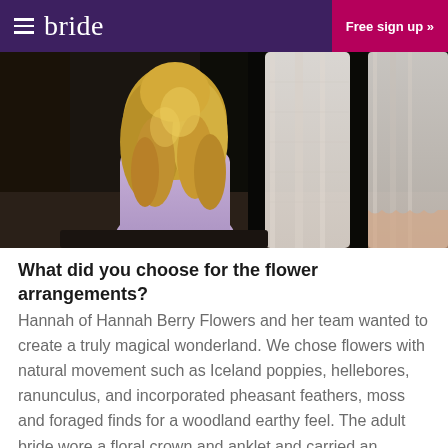bride   Free sign up »
[Figure (photo): A woman with long blonde curly hair, seen from behind wearing a lavender/lilac dress, looking at wedding dresses hanging in a wooded outdoor setting. The dresses are white/ivory and sheer.]
What did you choose for the flower arrangements?
Hannah of Hannah Berry Flowers and her team wanted to create a truly magical wonderland. We chose flowers with natural movement such as Iceland poppies, hellebores, ranunculus, and incorporated pheasant feathers, moss and foraged finds for a woodland earthy feel. The adult bride wore a floral crown and anklet and carried an oversized, unstructured bouquet in-keeping with the natural feel. Our child bride was lucky enough to come across a set of adorable 'natural' fairy wings, made of moss, which I can see